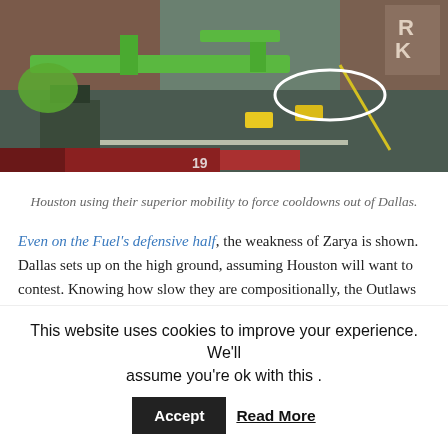[Figure (screenshot): A screenshot from the Overwatch game showing a top-down/isometric view of a city map with buildings, roads, taxis, and character elements including green pathways and structures. A white oval/circle is drawn on the image highlighting something in the upper center area.]
Houston using their superior mobility to force cooldowns out of Dallas.
Even on the Fuel's defensive half, the weakness of Zarya is shown. Dallas sets up on the high ground, assuming Houston will want to contest. Knowing how slow they are compositionally, the Outlaws just rotates under them and captures uncontested space close to the objective. Yes, Sn0rk1e has some heroics, but look at the
This website uses cookies to improve your experience. We'll assume you're ok with this . Accept Read More